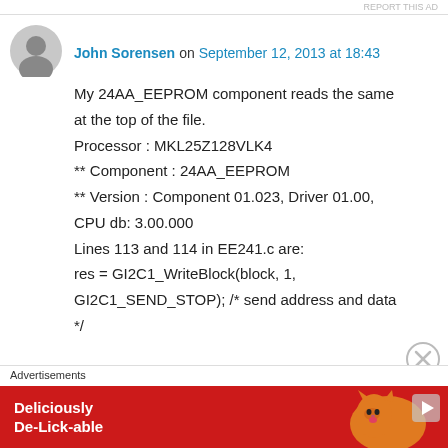REPORT THIS AD
John Sorensen on September 12, 2013 at 18:43
My 24AA_EEPROM component reads the same at the top of the file.
Processor : MKL25Z128VLK4
** Component : 24AA_EEPROM
** Version : Component 01.023, Driver 01.00, CPU db: 3.00.000
Lines 113 and 114 in EE241.c are:
res = GI2C1_WriteBlock(block, 1, GI2C1_SEND_STOP); /* send address and data */
Advertisements
[Figure (other): Advertisement banner with red background showing a cat and text 'Deliciously De-Lick-able']